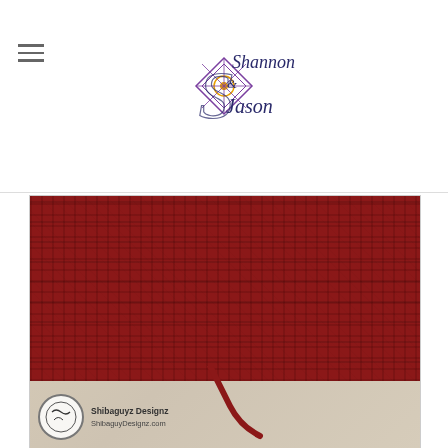Shannon & Jason logo with hamburger menu
[Figure (photo): Close-up photo of a red crochet swatch on a linen background, showing rows of stitches with a yarn tail. Watermark reads 'Shibaguyz Designz / ShibaguyDesignz.com' with a logo in the lower left corner.]
18. And THIS is front of that same swatch with the actual tail woven in. Complete invisible!
Note how that End Cap Stitch in the red yarn is COMPLETELY invisible here as well. FAB!!
All that's left to do now is pull the end of your yarn tail just